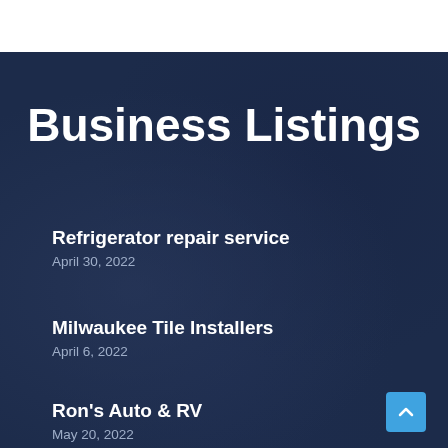Business Listings
Refrigerator repair service
April 30, 2022
Milwaukee Tile Installers
April 6, 2022
Ron's Auto & RV
May 20, 2022